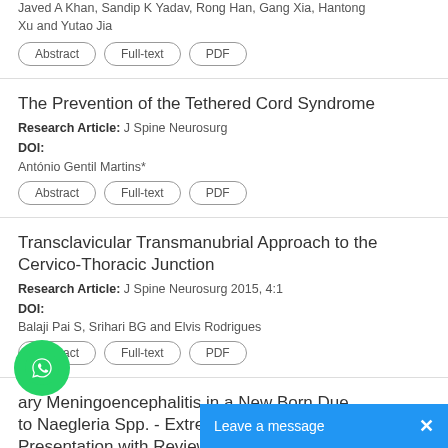Javed A Khan, Sandip K Yadav, Rong Han, Gang Xia, Hantong Xu and Yutao Jia
Abstract | Full-text | PDF
The Prevention of the Tethered Cord Syndrome
Research Article: J Spine Neurosurg
DOI:
Antônio Gentil Martins*
Abstract | Full-text | PDF
Transclavicular Transmanubrial Approach to the Cervico-Thoracic Junction
Research Article: J Spine Neurosurg 2015, 4:1
DOI:
Balaji Pai S, Srihari BG and Elvis Rodrigues
Abstract | Full-text | PDF
...ary Meningoencephalitis in a New Born Due to Naegleria Spp. - Extreme...
Presentation with Review o...